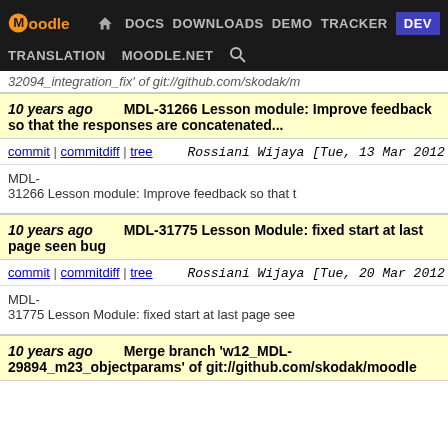[Figure (screenshot): Moodle developer documentation website navigation bar with logo, nav links (DOCS, DOWNLOADS, DEMO, TRACKER, DEV), and secondary links (TRANSLATION, MOODLE.NET, search icon)]
32094_integration_fix' of git://github.com/skodak/m
10 years ago   MDL-31266 Lesson module: Improve feedback so that the responses are concatenated...
commit | commitdiff | tree   Rossiani Wijaya [Tue, 13 Mar 2012 06:54:39 +0000 (14:54 +0800)]
MDL-31266 Lesson module: Improve feedback so that t
10 years ago   MDL-31775 Lesson Module: fixed start at last page seen bug
commit | commitdiff | tree   Rossiani Wijaya [Tue, 20 Mar 2012 09:32:58 +0000 (17:32 +0800)]
MDL-31775 Lesson Module: fixed start at last page see
10 years ago   Merge branch 'w12_MDL-29894_m23_objectparams' of git://github.com/skodak/moodle